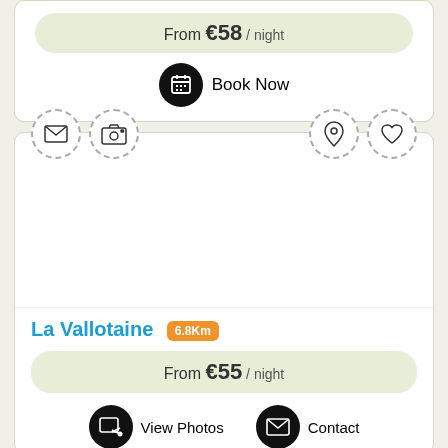From €58 / night
Book Now
[Figure (screenshot): Listing card for La Vallotaine with icon row (envelope, camera, map pin, heart), photo area, property name, distance badge, price, and action buttons]
La Vallotaine 6.8Km
From €55 / night
View Photos
Contact